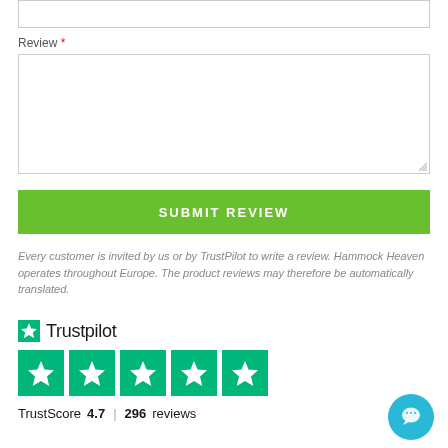Review *
[Figure (screenshot): Empty text input box at top]
[Figure (screenshot): Large empty textarea for review input with resize handle]
SUBMIT REVIEW
Every customer is invited by us or by TrustPilot to write a review. Hammock Heaven operates throughout Europe. The product reviews may therefore be automatically translated.
[Figure (logo): Trustpilot logo with green star and Trustpilot wordmark]
[Figure (infographic): Five green Trustpilot star rating boxes]
TrustScore 4.7  |  296 reviews